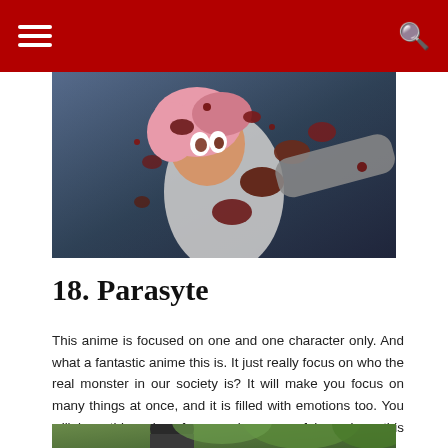[Figure (illustration): Anime screenshot from Parasyte showing a character with pink hair covered in dark red blood splatter, in an action scene with a blue-grey background]
18. Parasyte
This anime is focused on one and one character only. And what a fantastic anime this is. It just really focus on who the real monster in our society is? It will make you focus on many things at once, and it is filled with emotions too. You will love this anime for sure because of how deep this anime is.
[Figure (illustration): Anime screenshot partially visible at bottom of page, showing a character with dark hair in an outdoor scene with greenery]